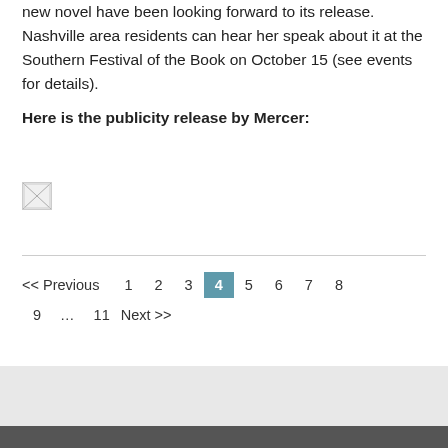new novel have been looking forward to its release. Nashville area residents can hear her speak about it at the Southern Festival of the Book on October 15 (see events for details).
Here is the publicity release by Mercer:
[Figure (photo): Broken image placeholder icon]
<< Previous  1  2  3  4  5  6  7  8  9  ...  11  Next >>